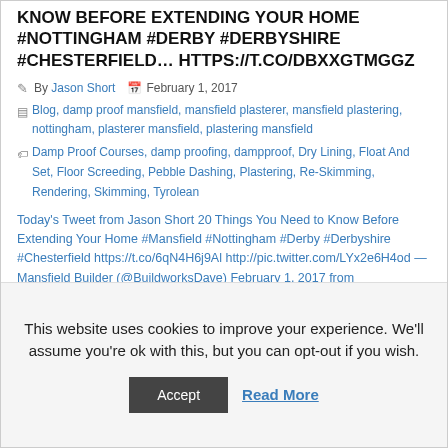KNOW BEFORE EXTENDING YOUR HOME #NOTTINGHAM #DERBY #DERBYSHIRE #CHESTERFIELD... HTTPS://T.CO/DBXXGTMGGZ
By Jason Short   February 1, 2017
Blog, damp proof mansfield, mansfield plasterer, mansfield plastering, nottingham, plasterer mansfield, plastering mansfield
Damp Proof Courses, damp proofing, dampproof, Dry Lining, Float And Set, Floor Screeding, Pebble Dashing, Plastering, Re-Skimming, Rendering, Skimming, Tyrolean
Today's Tweet from Jason Short 20 Things You Need to Know Before Extending Your Home #Mansfield #Nottingham #Derby #Derbyshire #Chesterfield https://t.co/6qN4H6j9Al http://pic.twitter.com/LYx2e6H4od — Mansfield Builder (@BuildworksDave) February 1, 2017 from http://twitter.com/JHSPlasterNOTCall . Text for a free quote 07788
This website uses cookies to improve your experience. We'll assume you're ok with this, but you can opt-out if you wish.
Accept   Read More